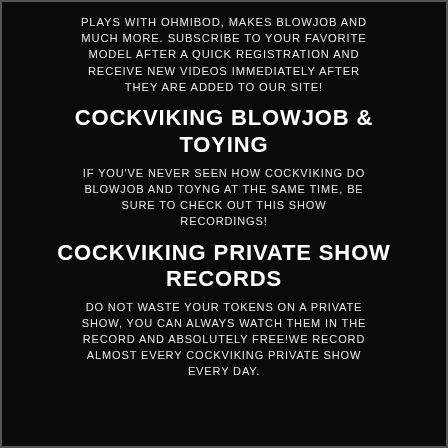PLAYS WITH OHMIBOD, MAKES BLOWJOB AND MUCH MORE. SUBSCRIBE TO YOUR FAVORITE MODEL AFTER A QUICK REGISTRATION AND RECEIVE NEW VIDEOS IMMEDIATELY AFTER THEY ARE ADDED TO OUR SITE!
COCKVIKING BLOWJOB & TOYING
IF YOU'VE NEVER SEEN HOW COCKVIKING DO BLOWJOB AND TOYNG AT THE SAME TIME, BE SURE TO CHECK OUT THIS SHOW RECORDINGS!
COCKVIKING PRIVATE SHOW RECORDS
DO NOT WASTE YOUR TOKENS ON A PRIVATE SHOW, YOU CAN ALWAYS WATCH THEM IN THE RECORD AND ABSOLUTELY FREE!WE RECORD ALMOST EVERY COCKVIKING PRIVATE SHOW EVERY DAY.